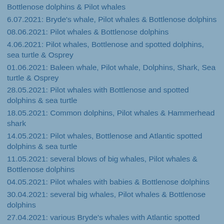Bottlenose dolphins & Pilot whales
6.07.2021: Bryde's whale, Pilot whales & Bottlenose dolphins
08.06.2021: Pilot whales & Bottlenose dolphins
4.06.2021: Pilot whales, Bottlenose and spotted dolphins, sea turtle & Osprey
01.06.2021: Baleen whale, Pilot whale, Dolphins, Shark, Sea turtle & Osprey
28.05.2021: Pilot whales with Bottlenose and spotted dolphins & sea turtle
18.05.2021: Common dolphins, Pilot whales & Hammerhead shark
14.05.2021: Pilot whales, Bottlenose and Atlantic spotted dolphins & sea turtle
11.05.2021: several blows of big whales, Pilot whales & Bottlenose dolphins
04.05.2021: Pilot whales with babies & Bottlenose dolphins
30.04.2021: several big whales, Pilot whales & Bottlenose dolphins
27.04.2021: various Bryde's whales with Atlantic spotted dolphins & Pilot whales